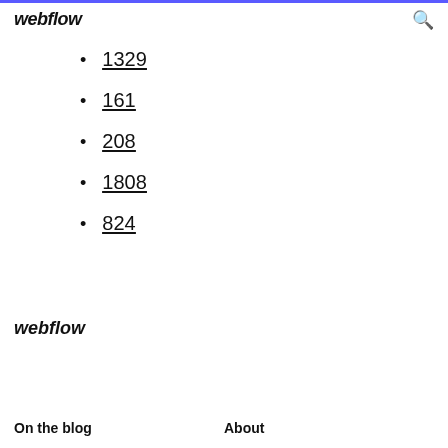webflow
1329
161
208
1808
824
webflow
On the blog   About